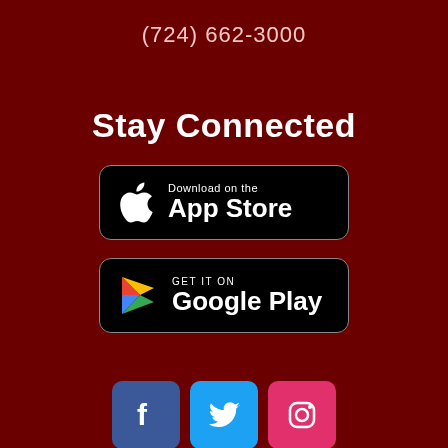(724) 662-3000
Stay Connected
[Figure (logo): Apple App Store download badge — black rounded rectangle with Apple logo and text 'Download on the App Store']
[Figure (logo): Google Play download badge — black rounded rectangle with Google Play triangle logo and text 'GET IT ON Google Play']
[Figure (logo): Social media icons row: Facebook (blue square with f), Twitter (light blue square with bird), Instagram (pink/magenta square with camera outline)]